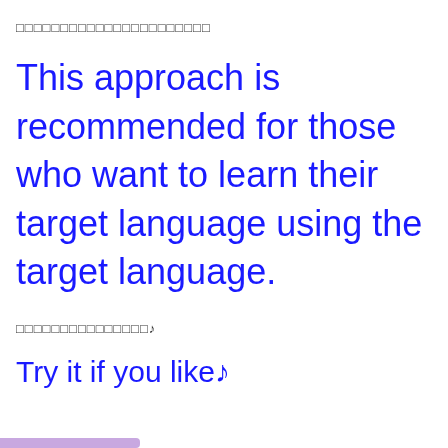□□□□□□□□□□□□□□□□□□□□□□
This approach is recommended for those who want to learn their target language using the target language.
□□□□□□□□□□□□□□□♪
Try it if you like♪